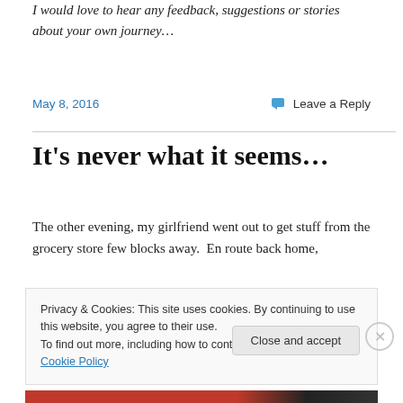I would love to hear any feedback, suggestions or stories about your own journey…
May 8, 2016
Leave a Reply
It's never what it seems…
The other evening, my girlfriend went out to get stuff from the grocery store few blocks away.  En route back home,
Privacy & Cookies: This site uses cookies. By continuing to use this website, you agree to their use.
To find out more, including how to control cookies, see here: Cookie Policy
Close and accept